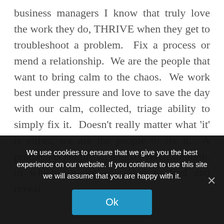business managers I know that truly love the work they do, THRIVE when they get to troubleshoot a problem.  Fix a process or mend a relationship.  We are the people that want to bring calm to the chaos.  We work best under pressure and love to save the day with our calm, collected, triage ability to simply fix it.  Doesn't really matter what 'it' is either, we are the people to fix it.  A problem is simply an undiscovered solution, in which we are energized to find and reveal.
You know you're on
We use cookies to ensure that we give you the best experience on our website. If you continue to use this site we will assume that you are happy with it.